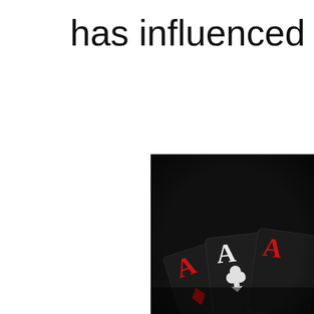has influenced our l
[Figure (photo): Close-up photograph of playing cards fanned out on a dark black surface. Three aces are visible: a red Ace (diamonds), a white/black Ace (clubs), and a partially visible red Ace on the right. The cards are black-backed with red and white face markings.]